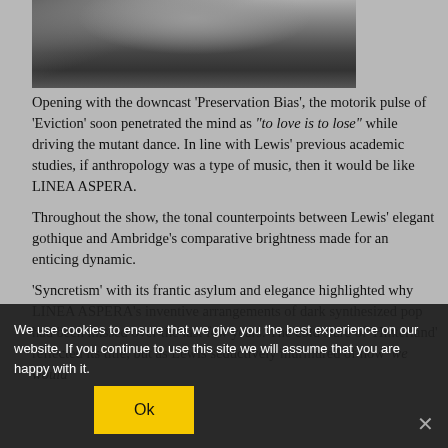[Figure (photo): Black and white photo of a woman with long hair wearing a dark jacket, cropped to show head and upper torso]
Opening with the downcast 'Preservation Bias', the motorik pulse of 'Eviction' soon penetrated the mind as "to love is to lose" while driving the mutant dance. In line with Lewis' previous academic studies, if anthropology was a type of music, then it would be like LINEA ASPERA.

Throughout the show, the tonal counterpoints between Lewis' elegant gothique and Ambridge's comparative brightness made for an enticing dynamic.

'Syncretism' with its frantic asylum and elegance highlighted why LINEA ASPERA's inventive arrangements of dark synthesized pop had been missed over the last few years. The cold stare of 'Hinterland' reflected its title, but as Lewis seductively murmured of how 'we would
We use cookies to ensure that we give you the best experience on our website. If you continue to use this site we will assume that you are happy with it.
Ok